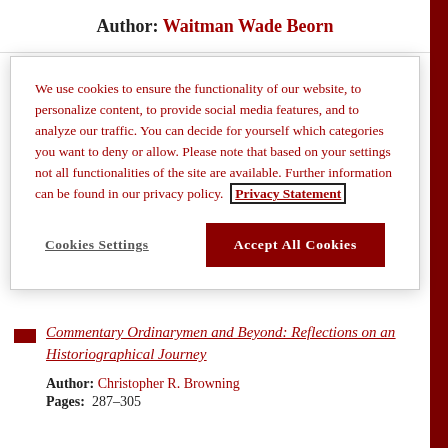Author: Waitman Wade Beorn
We use cookies to ensure the functionality of our website, to personalize content, to provide social media features, and to analyze our traffic. You can decide for yourself which categories you want to deny or allow. Please note that based on your settings not all functionalities of the site are available. Further information can be found in our privacy policy. Privacy Statement
Cookies Settings
Accept All Cookies
Commentary Ordinarymen and Beyond: Reflections on an Historiographical Journey
Author: Christopher R. Browning
Pages: 287–305